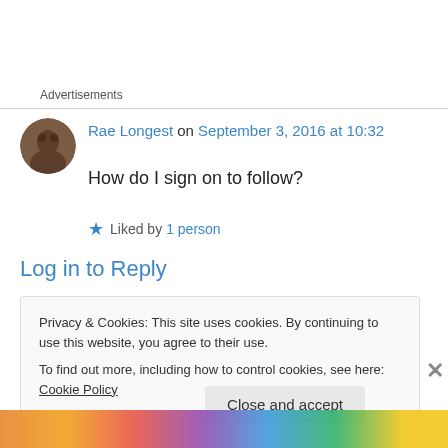Advertisements
Rae Longest on September 3, 2016 at 10:32
How do I sign on to follow?
★ Liked by 1 person
Log in to Reply
Privacy & Cookies: This site uses cookies. By continuing to use this website, you agree to their use.
To find out more, including how to control cookies, see here: Cookie Policy
Close and accept